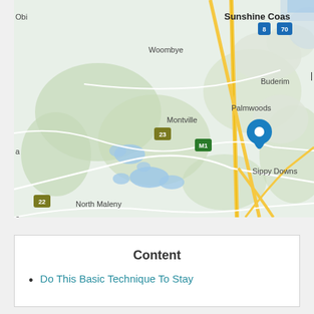[Figure (map): Google Maps screenshot showing the Sunshine Coast area of Queensland, Australia. Visible localities include Woombye, Montville, Palmwoods, Buderim, Sippy Downs (with a blue location pin), North Maleny, Maleny, Balmoral Ridge, Bald Knob, Mooloolah Valley, Glenview, Landsborough. Roads include M1 highway and routes 6, 8, 22, 23, 70.]
Content
Do This Basic Technique To Stay